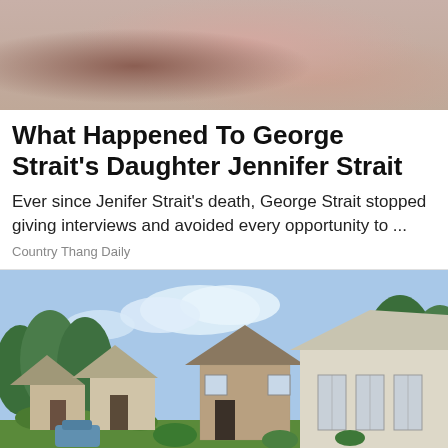[Figure (photo): Partial photo of a woman, cropped at top, pink/floral clothing visible]
What Happened To George Strait's Daughter Jennifer Strait
Ever since Jenifer Strait's death, George Strait stopped giving interviews and avoided every opportunity to ...
Country Thang Daily
[Figure (photo): Exterior photo of a suburban residential street with houses, green trees, blue sky with clouds]
[Figure (infographic): Advertisement bar: USA LABEL EXPRESS - Request A Sample Pack - OPEN button - reCAPTCHA logo]